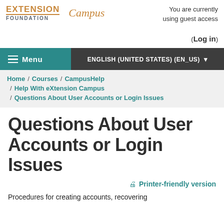[Figure (logo): Extension Foundation logo with 'EXTENSION FOUNDATION' text and 'Campus' in orange italic]
You are currently using guest access (Log in)
Menu | ENGLISH (UNITED STATES) (EN_US)
Home / Courses / CampusHelp / Help With eXtension Campus / Questions About User Accounts or Login Issues
Questions About User Accounts or Login Issues
Printer-friendly version
Procedures for creating accounts, recovering